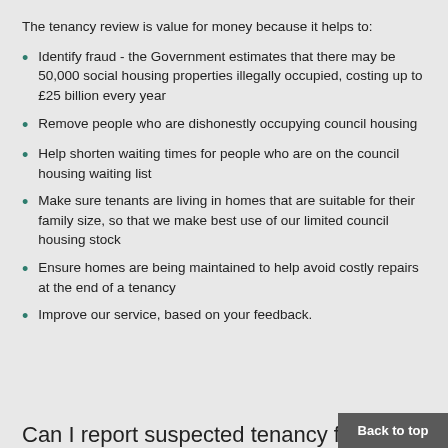The tenancy review is value for money because it helps to:
Identify fraud - the Government estimates that there may be 50,000 social housing properties illegally occupied, costing up to £25 billion every year
Remove people who are dishonestly occupying council housing
Help shorten waiting times for people who are on the council housing waiting list
Make sure tenants are living in homes that are suitable for their family size, so that we make best use of our limited council housing stock
Ensure homes are being maintained to help avoid costly repairs at the end of a tenancy
Improve our service, based on your feedback.
Can I report suspected tenancy fraud!